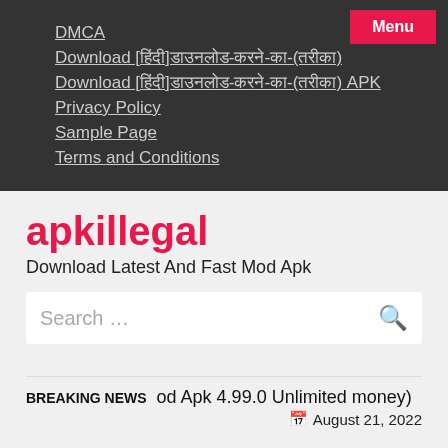Menu
DMCA
Download [हिंदी]डाउनलोड-करने-का-(तरीका)
Download [हिंदी]डाउनलोड-करने-का-(तरीका) APK
Privacy Policy
Sample Page
Terms and Conditions
apkillegal
Download Latest And Fast Mod Apk
Search …
BREAKING NEWS   od Apk 4.99.0 Unlimited money)  |  Escape
August 21, 2022